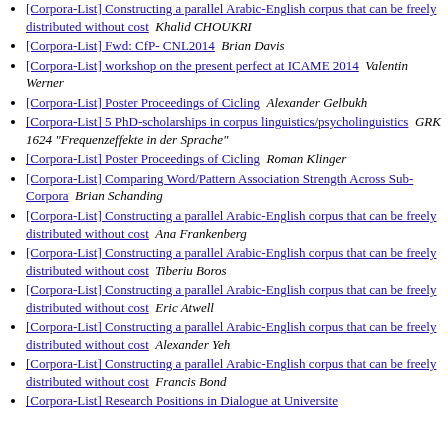[Corpora-List] Constructing a parallel Arabic-English corpus that can be freely distributed without cost  Khalid CHOUKRI
[Corpora-List] Fwd: CfP- CNL2014  Brian Davis
[Corpora-List] workshop on the present perfect at ICAME 2014  Valentin Werner
[Corpora-List] Poster Proceedings of Cicling  Alexander Gelbukh
[Corpora-List] 5 PhD-scholarships in corpus linguistics/psycholinguistics  GRK 1624 "Frequenzeffekte in der Sprache"
[Corpora-List] Poster Proceedings of Cicling  Roman Klinger
[Corpora-List] Comparing Word/Pattern Association Strength Across Sub-Corpora  Brian Schanding
[Corpora-List] Constructing a parallel Arabic-English corpus that can be freely distributed without cost  Ana Frankenberg
[Corpora-List] Constructing a parallel Arabic-English corpus that can be freely distributed without cost  Tiberiu Boros
[Corpora-List] Constructing a parallel Arabic-English corpus that can be freely distributed without cost  Eric Atwell
[Corpora-List] Constructing a parallel Arabic-English corpus that can be freely distributed without cost  Alexander Yeh
[Corpora-List] Constructing a parallel Arabic-English corpus that can be freely distributed without cost  Francis Bond
[Corpora-List] Research Positions in Dialogue at Universite